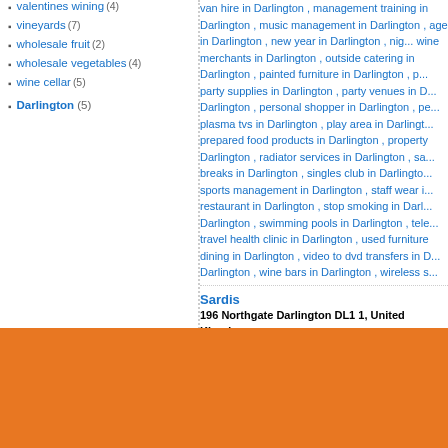valentines wining (4)
vineyards (7)
wholesale fruit (2)
wholesale vegetables (4)
wine cellar (5)
Darlington (5)
van hire in Darlington , management training in Darlington , music management in Darlington , age in Darlington , new year in Darlington , nig... wine merchants in Darlington , outside catering in Darlington , painted furniture in Darlington , p... party supplies in Darlington , party venues in Darlington , personal shopper in Darlington , pe... plasma tvs in Darlington , play area in Darlington , prepared food products in Darlington , property Darlington , radiator services in Darlington , sa... breaks in Darlington , singles club in Darlington , sports management in Darlington , staff wear i... restaurant in Darlington , stop smoking in Darlington , swimming pools in Darlington , tele... travel health clinic in Darlington , used furniture dining in Darlington , video to dvd transfers in D... Darlington , wine bars in Darlington , wireless s...
Sardis
196 Northgate Darlington DL1 1, United Kingdom
Darlington
County Durham
/ 01325 461 222
car entertainment systems in Darlington , chee... classes in Darlington , european restaurants in in Darlington , Food and Drink in Darlington , i... mediterranean restaurants in Darlington , mod... products in Darlington , property value improve cellar in Darlington , wine restaurants in Darlin...